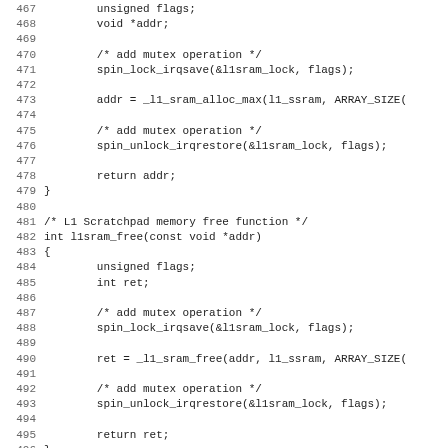[Figure (screenshot): Source code listing in monospace font showing C code for L1 scratchpad memory functions, lines 467-499]
467: unsigned flags;
468:     void *addr;
469:
470:     /* add mutex operation */
471:     spin_lock_irqsave(&l1sram_lock, flags);
472:
473:     addr = _l1_sram_alloc_max(l1_ssram, ARRAY_SIZE(
474:
475:     /* add mutex operation */
476:     spin_unlock_irqrestore(&l1sram_lock, flags);
477:
478:     return addr;
479: }
480:
481 /* L1 Scratchpad memory free function */
482 int l1sram_free(const void *addr)
483 {
484:     unsigned flags;
485:     int ret;
486:
487:     /* add mutex operation */
488:     spin_lock_irqsave(&l1sram_lock, flags);
489:
490:     ret = _l1_sram_free(addr, l1_ssram, ARRAY_SIZE(
491:
492:     /* add mutex operation */
493:     spin_unlock_irqrestore(&l1sram_lock, flags);
494:
495:     return ret;
496: }
497:
498 int sram_free_with_lsl(const void *addr)
499 {